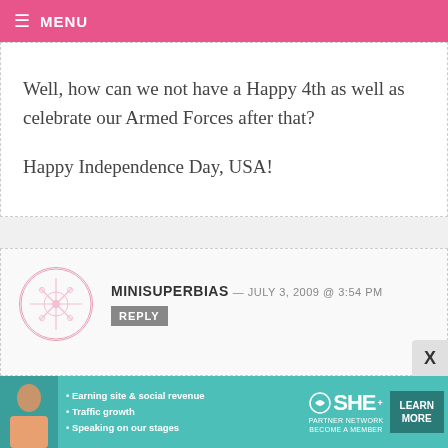MENU
Well, how can we not have a Happy 4th as well as celebrate our Armed Forces after that?

Happy Independence Day, USA!
MINISUPERBIAS — JULY 3, 2009 @ 3:54 PM
REPLY
My brother went to Marine boot camp the same time as Carlos' girlfriend it sounds like, and it's been hard on the family (and very hard on him from
[Figure (other): SHE Partner Network advertisement banner]